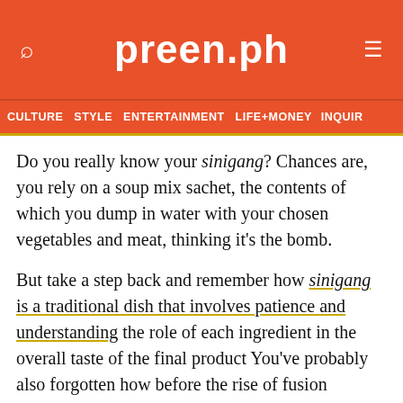preen.ph
CULTURE  STYLE  ENTERTAINMENT  LIFE+MONEY  INQUIR
Do you really know your sinigang? Chances are, you rely on a soup mix sachet, the contents of which you dump in water with your chosen vegetables and meat, thinking it's the bomb.
But take a step back and remember how sinigang is a traditional dish that involves patience and understanding the role of each ingredient in the overall taste of the final product You've probably also forgotten how before the rise of fusion cuisine, that there was nothing wrong with the original version in the first place.
In these stormy nights, take time to make this simple sinigang recipe that will truly remind you that good